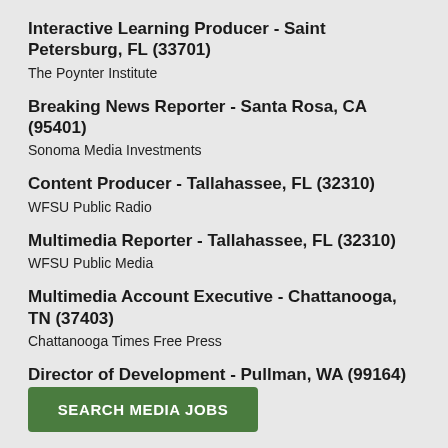Interactive Learning Producer - Saint Petersburg, FL (33701)
The Poynter Institute
Breaking News Reporter - Santa Rosa, CA (95401)
Sonoma Media Investments
Content Producer - Tallahassee, FL (32310)
WFSU Public Radio
Multimedia Reporter - Tallahassee, FL (32310)
WFSU Public Media
Multimedia Account Executive - Chattanooga, TN (37403)
Chattanooga Times Free Press
Director of Development - Pullman, WA (99164)
Washington State University
SEARCH MEDIA JOBS